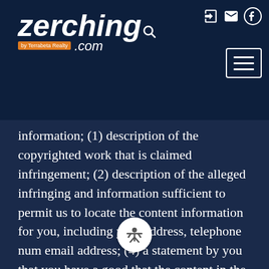Zerching by Terrabeta Realty .com
information; (1) description of the copyrighted work that is claimed infringement; (2) description of the alleged infringing and information sufficient to permit us to locate the content information for you, including your address, telephone number, email address; (4) a statement by you that you have a good that the content in the manner complained of is not authorized by the copyright owner, or its agent, or by the operation of any law; a statement by you, signed under penalty of perjury, that the information in the notification is accurate and that you have the authority to act on the copyrights that are claimed to be infringed; and (6) a physical or electronic signature of the copyright owner or a person authorized to act on the copyright owner's behalf. Failure to include all of the information may result in a delay of the processing of your